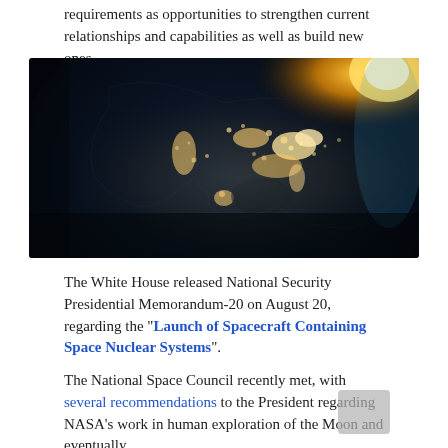requirements as opportunities to strengthen current relationships and capabilities as well as build new ones.
[Figure (photo): Satellite night view of North America from space, showing city lights glowing against a dark Earth surface, with sunlight visible at the upper right edge of the globe.]
The White House released National Security Presidential Memorandum-20 on August 20, regarding the "Launch of Spacecraft Containing Space Nuclear Systems".
The National Space Council recently met, with several recommendations to the President regarding NASA's work in human exploration of the Moon and eventually